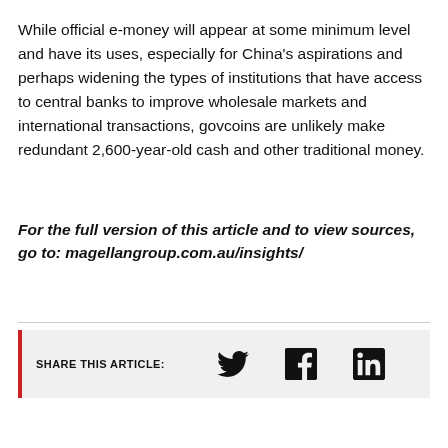While official e-money will appear at some minimum level and have its uses, especially for China's aspirations and perhaps widening the types of institutions that have access to central banks to improve wholesale markets and international transactions, govcoins are unlikely make redundant 2,600-year-old cash and other traditional money.
For the full version of this article and to view sources, go to: magellangroup.com.au/insights/
[Figure (infographic): Share this article bar with Twitter, Facebook, and LinkedIn icons]